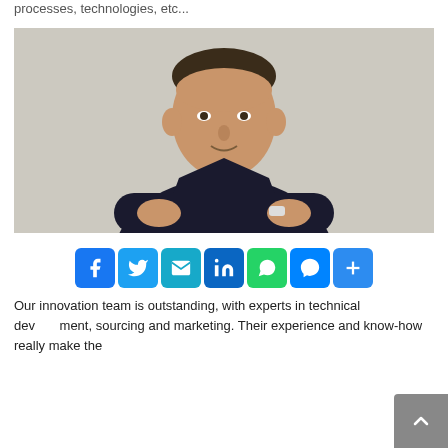processes, technologies, etc...
[Figure (photo): Professional headshot of a middle-aged man in a dark suit with a purple tie, arms crossed, against a light background.]
[Figure (infographic): Social sharing buttons: Facebook, Twitter, Email, LinkedIn, WhatsApp, Messenger, Share/Plus]
Our innovation team is outstanding, with experts in technical development, sourcing and marketing. Their experience and know-how really make the